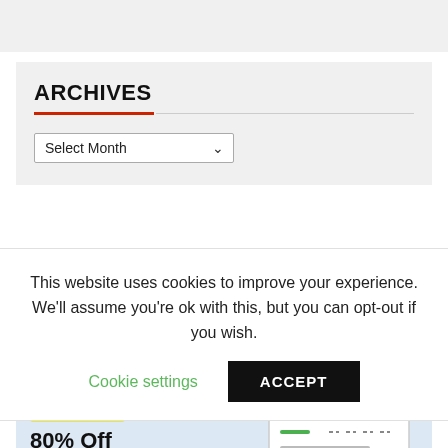[Figure (other): Gray bar at the top of the page, partial content area]
ARCHIVES
Select Month
This website uses cookies to improve your experience. We'll assume you're ok with this, but you can opt-out if you wish.
Cookie settings   ACCEPT
[Figure (illustration): Advertisement banner with light blue background showing 'Fresh Savings' tag, '80% Off Hosting & Free Transfer' text, and an illustration of a browser window with lemons/citrus decorations]